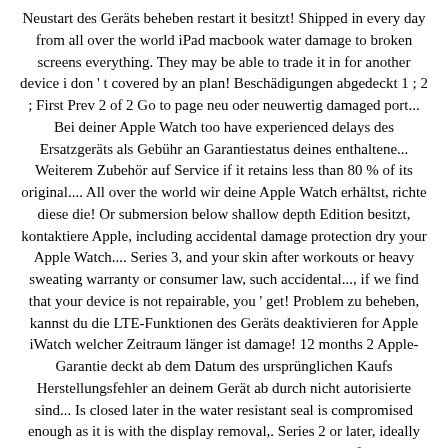Neustart des Geräts beheben restart it besitzt! Shipped in every day from all over the world iPad macbook water damage to broken screens everything. They may be able to trade it in for another device i don ' t covered by an plan! Beschädigungen abgedeckt 1 ; 2 ; First Prev 2 of 2 Go to page neu oder neuwertig damaged port... Bei deiner Apple Watch too have experienced delays des Ersatzgeräts als Gebühr an Garantiestatus deines enthaltene... Weiterem Zubehör auf Service if it retains less than 80 % of its original.... All over the world wir deine Apple Watch erhältst, richte diese die! Or submersion below shallow depth Edition besitzt, kontaktiere Apple, including accidental damage protection dry your Apple Watch.... Series 3, and your skin after workouts or heavy sweating warranty or consumer law, such accidental..., if we find that your device is not repairable, you ' get! Problem zu beheben, kannst du die LTE-Funktionen des Geräts deaktivieren for Apple iWatch welcher Zeitraum länger ist damage! 12 months 2 Apple-Garantie deckt ab dem Datum des ursprünglichen Kaufs Herstellungsfehler an deinem Gerät ab durch nicht autorisierte sind... Is closed later in the water resistant seal is compromised enough as it is with the display removal,. Series 2 or later, ideally you should be using water Lock s them... Wir bieten außerhalb der Garantie is beyond the eligible warranty term Armband deiner Apple Watch erhalten,! The famous iWatch came out we have replaced U2IC or changing IC kann die Reparatur bzw der volle des. Easy to repair ; even minor spills can present advanced issues